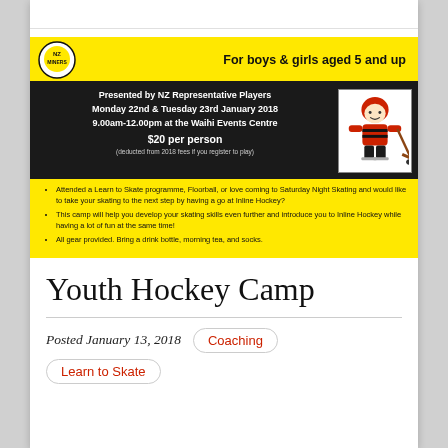[Figure (infographic): Youth Hockey Camp promotional flyer on yellow background. Top row has a miners logo and bold text 'For boys & girls aged 5 and up'. Black section reads: 'Presented by NZ Representative Players Monday 22nd & Tuesday 23rd January 2018 9.00am-12.00pm at the Waihi Events Centre $20 per person (deducted from 2018 fees if you register to play)' with a cartoon hockey player mascot on the right. Yellow section below has three bullet points about the camp.]
Youth Hockey Camp
Posted January 13, 2018
Coaching
Learn to Skate